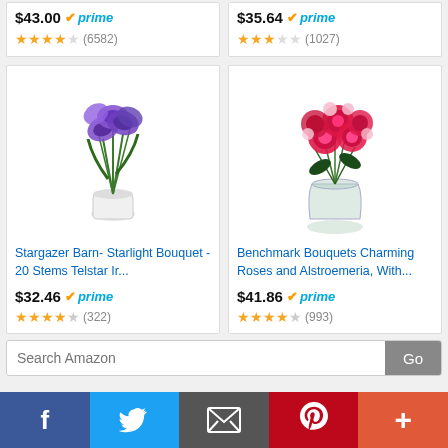$43.00 prime (6582 reviews)
$35.64 prime (1027 reviews)
[Figure (photo): Purple iris bouquet in a white vase]
Stargazer Barn- Starlight Bouquet - 20 Stems Telstar Ir...
$32.46 prime, 4.5 stars (322 reviews)
[Figure (photo): Pink roses and alstroemeria bouquet in a glass vase]
Benchmark Bouquets Charming Roses and Alstroemeria, With...
$41.86 prime, 4.5 stars (993 reviews)
Search Amazon
Copyright © 2022 Vietnam Dance. Power by Wordpress.
Home - About Us - Contact Us - Disclaimers - DMCA - Privacy